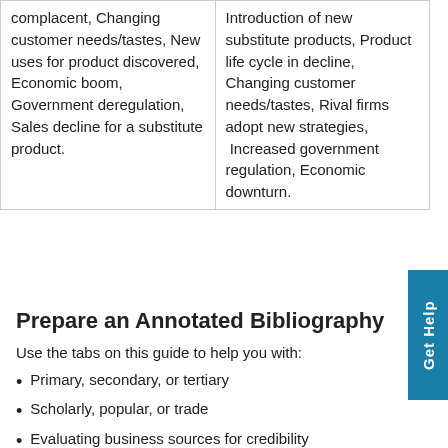| complacent, Changing customer needs/tastes, New uses for product discovered, Economic boom, Government deregulation, Sales decline for a substitute product. | Introduction of new substitute products, Product life cycle in decline, Changing customer needs/tastes, Rival firms adopt new strategies,  Increased government regulation, Economic downturn. |
Prepare an Annotated Bibliography
Use the tabs on this guide to help you with:
Primary, secondary, or tertiary
Scholarly, popular, or trade
Evaluating business sources for credibility
APA citations